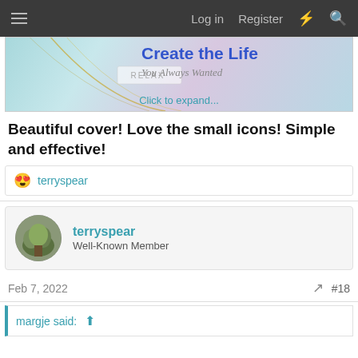Log in   Register
[Figure (illustration): Banner image with text 'Create the Life You Always Wanted' with a 'Click to expand...' link and a RELAX label box. Decorative arc shapes on teal/pink gradient background.]
Beautiful cover! Love the small icons! Simple and effective!
😍 terryspear
terryspear
Well-Known Member
Feb 7, 2022  #18
margje said: